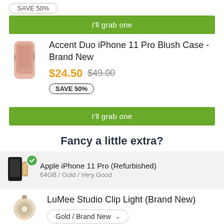I'll grab one (top button)
Accent Duo iPhone 11 Pro Blush Case - Brand New
$24.50 $49.00
SAVE 50%
I'll grab one
Fancy a little extra?
Apple iPhone 11 Pro (Refurbished)
64GB / Gold / Very Good
LuMee Studio Clip Light (Brand New)
Gold / Brand New